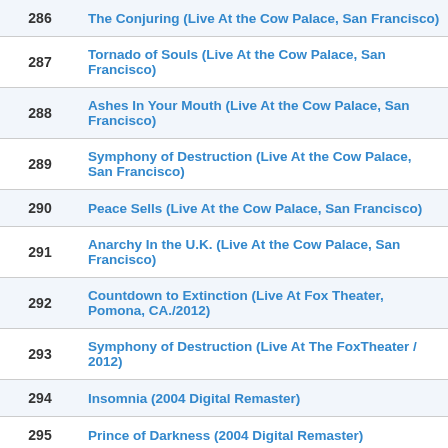| # | Title |
| --- | --- |
| 286 | The Conjuring (Live At the Cow Palace, San Francisco) |
| 287 | Tornado of Souls (Live At the Cow Palace, San Francisco) |
| 288 | Ashes In Your Mouth (Live At the Cow Palace, San Francisco) |
| 289 | Symphony of Destruction (Live At the Cow Palace, San Francisco) |
| 290 | Peace Sells (Live At the Cow Palace, San Francisco) |
| 291 | Anarchy In the U.K. (Live At the Cow Palace, San Francisco) |
| 292 | Countdown to Extinction (Live At Fox Theater, Pomona, CA./2012) |
| 293 | Symphony of Destruction (Live At The FoxTheater / 2012) |
| 294 | Insomnia (2004 Digital Remaster) |
| 295 | Prince of Darkness (2004 Digital Remaster) |
| 296 | Crush 'Em (2004 Digital Remaster) |
| 297 | Breadline (24-Bit Digitally Remastered 04) |
| 298 | Anarchy In The UK - Live at Wembley |
| 299 | Kick The Chair (live) |
| 300 | Ashes In Your Mouth (Live At The Fox Theater / 2012) |